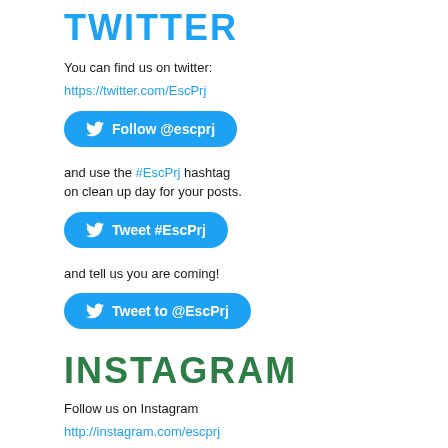TWITTER
You can find us on twitter:
https://twitter.com/EscPrj
[Figure (other): Blue rounded Twitter button with bird icon and text 'Follow @escprj']
and use the #EscPrj hashtag
on clean up day for your posts.
[Figure (other): Blue rounded Twitter button with bird icon and text 'Tweet #EscPrj']
and tell us you are coming!
[Figure (other): Blue rounded Twitter button with bird icon and text 'Tweet to @EscPrj']
INSTAGRAM
Follow us on Instagram
http://instagram.com/escprj
[Figure (other): Instagram icon placeholder with label 'Instagram']